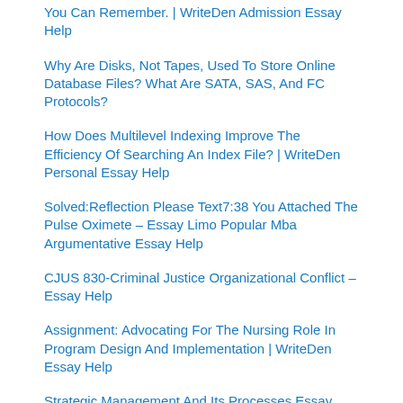You Can Remember. | WriteDen Admission Essay Help
Why Are Disks, Not Tapes, Used To Store Online Database Files? What Are SATA, SAS, And FC Protocols?
How Does Multilevel Indexing Improve The Efficiency Of Searching An Index File? | WriteDen Personal Essay Help
Solved:Reflection Please Text7:38 You Attached The Pulse Oximete – Essay Limo Popular Mba Argumentative Essay Help
CJUS 830-Criminal Justice Organizational Conflict – Essay Help
Assignment: Advocating For The Nursing Role In Program Design And Implementation | WriteDen Essay Help
Strategic Management And Its Processes Essay Help Services
Construct The Appropriate Null And Alternative